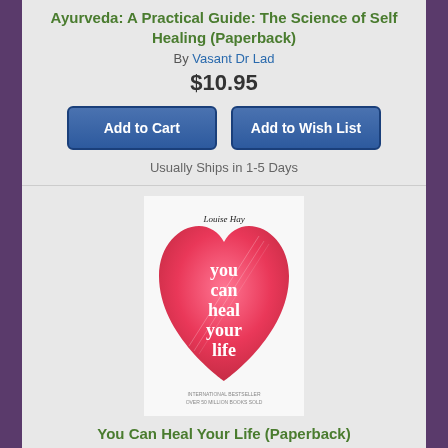Ayurveda: A Practical Guide: The Science of Self Healing (Paperback)
By Vasant Dr Lad
$10.95
Add to Cart | Add to Wish List
Usually Ships in 1-5 Days
[Figure (photo): Book cover of 'You Can Heal Your Life' by Louise Hay, featuring a pink/red heart shape on a white background]
You Can Heal Your Life (Paperback)
By Louise Hay
$15.99
Add to Cart | Add to Wish List
Usually Ships in 1-5 Days